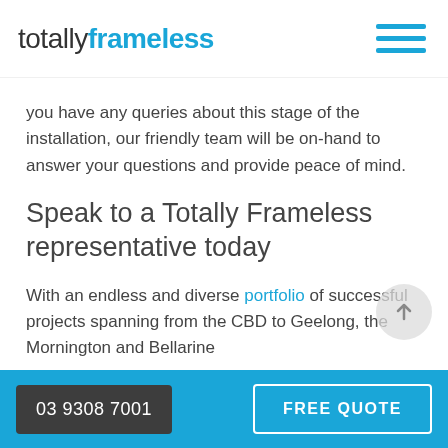totally frameless
you have any queries about this stage of the installation, our friendly team will be on-hand to answer your questions and provide peace of mind.
Speak to a Totally Frameless representative today
With an endless and diverse portfolio of successful projects spanning from the CBD to Geelong, the Mornington and Bellarine
03 9308 7001   FREE QUOTE